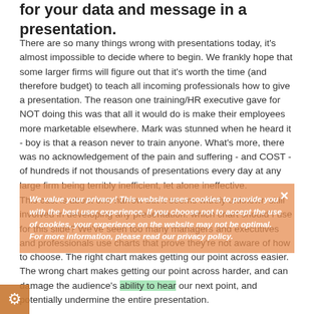for your data and message in a presentation.
There are so many things wrong with presentations today, it's almost impossible to decide where to begin. We frankly hope that some larger firms will figure out that it's worth the time (and therefore budget) to teach all incoming professionals how to give a presentation. The reason one training/HR executive gave for NOT doing this was that all it would do is make their employees more marketable elsewhere. Mark was stunned when he heard it - boy is that a reason never to train anyone. What's more, there was no acknowledgement of the pain and suffering - and COST - of hundreds if not thousands of presentations every day at any large firm being terribly inefficient, let alone ineffective.
This cast is about one narrow but it seems widely unknown skill involved in developing any presentation: which chart should I use for this slide? We've seen too many managers and executives and professionals use charts that prove they're not aware of how to choose. The right chart makes getting our point across easier. The wrong chart makes getting our point across harder, and can damage the audience's ability to hear our next point, and potentially undermine the entire presentation.